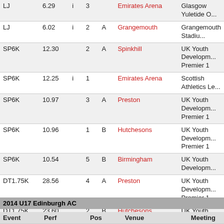| Event | Perf |  | Pos |  | Venue | Meeting |
| --- | --- | --- | --- | --- | --- | --- |
| LJ | 6.29 | i | 3 |  | Emirates Arena | Glasgow Yuletide O... |
| LJ | 6.02 | i | 2 | A | Grangemouth | Grangemouth Stadiu... |
| SP6K | 12.30 |  | 2 | A | Spinkhill | UK Youth Developm... Premier 1 |
| SP6K | 12.25 | i | 1 |  | Emirates Arena | Scottish Athletics Le... |
| SP6K | 10.97 |  | 3 | A | Preston | UK Youth Developm... Premier 1 |
| SP6K | 10.96 |  | 1 | B | Hutchesons | UK Youth Developm... Premier 1 |
| SP6K | 10.54 |  | 5 | B | Birmingham | UK Youth Developm... |
| DT1.75K | 28.56 |  | 4 | A | Preston | UK Youth Developm... Premier 1 |
| DT1.75K | 23.60 |  | 2 | B | Hutchesons | UK Youth Developm... Premier 1 |
| DT1.75K | 22.52 |  | 4 | A | Spinkhill | UK Youth Developm... Premier 1 |
| DT1.75K | 22.27 |  | 8 | A | Birmingham | UK Youth Developm... |
| HT6K | 22.78 |  | 3 | B | Preston | UK Youth Developm... Premier 1 |
| JT800 | 35.94 |  | 1 | B | Hutchesons | UK Youth Developm... Premier 1 |
| JT800 | 33.57 |  | 3 | B | Spinkhill | UK Youth Developm... Premier 1 |
| JT800 | 29.85 |  | 3 | B | Preston | UK Youth Developm... Premier 1 |
2014 U17 Edinburgh AC
| Event | Perf | Pos | Venue | Meeting |
| --- | --- | --- | --- | --- |